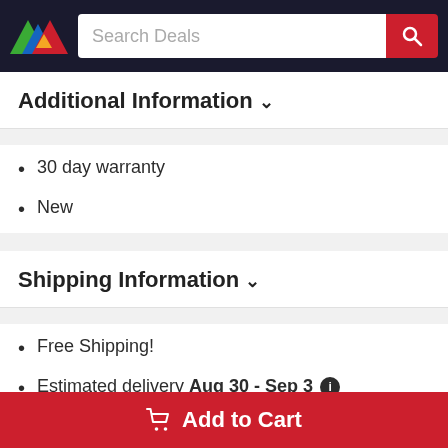Search Deals [search bar with logo]
Additional Information ▾
30 day warranty
New
Shipping Information ▾
Free Shipping!
Estimated delivery Aug 30 - Sep 3 ℹ
Returns available within 30 days ℹ
Ships to U.S. (No AK/HI, No P.O. Boxes, and No
Add to Cart